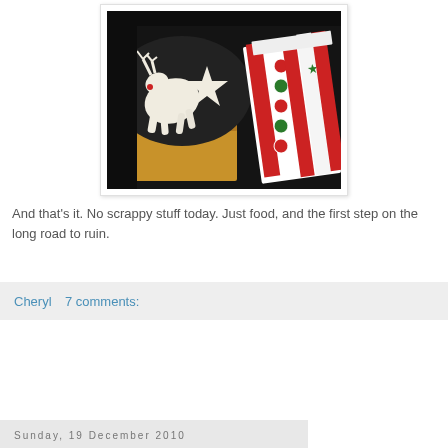[Figure (photo): Christmas cookies (white icing reindeer and star shapes) in a box with a festive red and green 'ho ho ho' holiday gift box beside them, photographed on a dark background.]
And that's it. No scrappy stuff today. Just food, and the first step on the long road to ruin.
Cheryl   7 comments:
Sunday, 19 December 2010